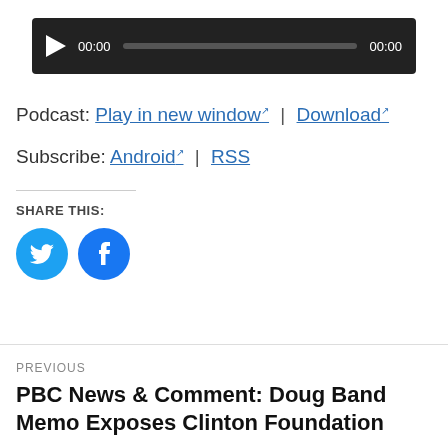[Figure (screenshot): Audio player with dark background, play button, time display 00:00, progress bar, and end time 00:00]
Podcast: Play in new window | Download
Subscribe: Android | RSS
SHARE THIS:
[Figure (illustration): Twitter bird icon (cyan circle) and Facebook f icon (blue circle) social share buttons]
PREVIOUS
PBC News & Comment: Doug Band Memo Exposes Clinton Foundation